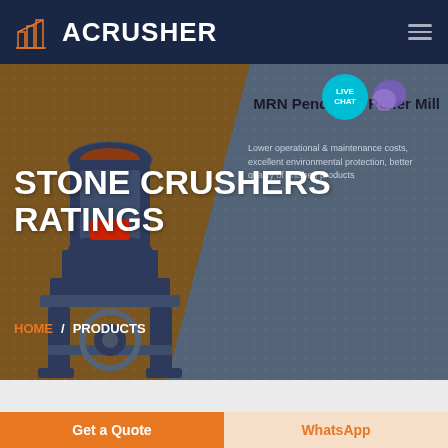ACRUSHER
STONE CRUSHERS RATINGS
MRN Pendulum Roller Mill
Lower operational & maintenance costs, excellent environmental protection, better quality of finished products
HOME / PRODUCTS
Get a Quote
WhatsApp